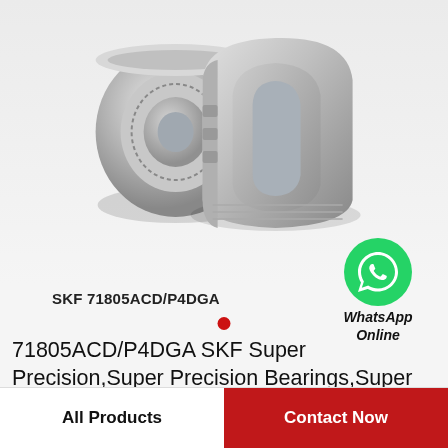[Figure (photo): Two SKF angular contact ball bearings shown in a product photo — one assembled bearing and one cross-section cutaway view, both metallic silver/chrome finish on a light grey background.]
SKF 71805ACD/P4DGA
[Figure (logo): WhatsApp logo — green circle with white phone handset icon, with text 'WhatsApp Online' below.]
71805ACD/P4DGA SKF Super Precision,Super Precision Bearings,Super Precision Angular…
All Products
Contact Now